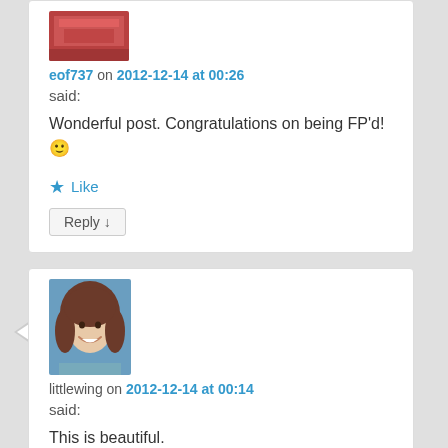[Figure (photo): Avatar image for eof737 showing a red building/sign]
eof737 on 2012-12-14 at 00:26
said:
Wonderful post. Congratulations on being FP'd! 🙂
★ Like
Reply ↓
[Figure (photo): Avatar photo of a young woman with brown hair, smiling]
littlewing on 2012-12-14 at 00:14
said:
This is beautiful.
★ Like